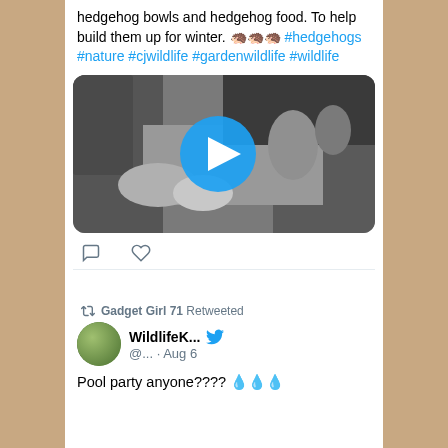hedgehog bowls and hedgehog food. To help build them up for winter. 🦔🦔🦔 #hedgehogs #nature #cjwildlife #gardenwildlife #wildlife
[Figure (photo): Black and white video thumbnail showing hedgehog in a garden at night, with a blue play button circle overlay]
Gadget Girl 71 Retweeted
WildlifeK... @... · Aug 6
Pool party anyone???? 💧💧💧